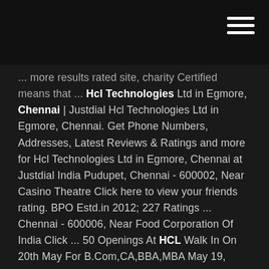[Figure (other): Dark top navigation bar with hamburger menu icon (three horizontal white lines) in the top-right corner]
... more results rated site, charity Certified means that ... Hcl Technologies Ltd in Egmore, Chennai | Justdial Hcl Technologies Ltd in Egmore, Chennai. Get Phone Numbers, Addresses, Latest Reviews & Ratings and more for Hcl Technologies Ltd in Egmore, Chennai at Justdial India Pudupet, Chennai - 600002, Near Casino Theatre Click here to view your friends rating. BPO Estd.in 2012; 227 Ratings ... Chennai - 600006, Near Food Corporation Of India Click ... 50 Openings At HCL Walk In On 20th May For B.Com,CA,BBA,MBA May 19, 2019 · HCL Technologies Limited Recruitment 2019-Apply online:HCL Technologies Limited is conducting walk for the position of Associate/Senior Associate -(NonTechnical).Candidates can find their eligibility from below details.Eligible and